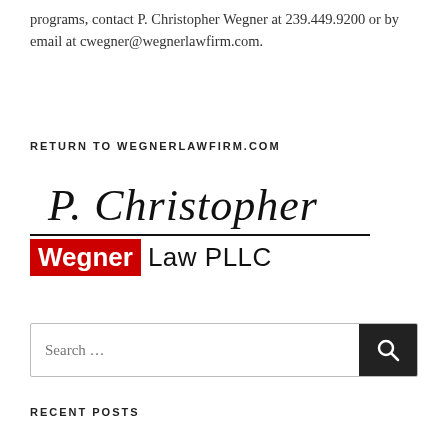programs, contact P. Christopher Wegner at 239.449.9200 or by email at cwegner@wegnerlawfirm.com.
RETURN TO WEGNERLAWFIRM.COM
[Figure (logo): Wegner Law PLLC logo with handwritten signature 'P. Christopher Wegner' above and 'Wegner Law PLLC' text below, with 'Wegner' on a red background]
[Figure (other): Search bar with text 'Search ...' and a dark search button with magnifying glass icon]
RECENT POSTS